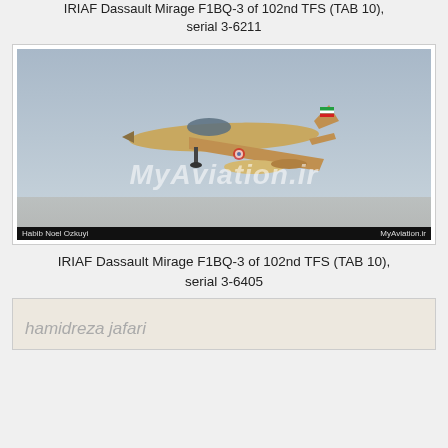IRIAF Dassault Mirage F1BQ-3 of 102nd TFS (TAB 10), serial 3-6211
[Figure (photo): Photograph of an IRIAF Dassault Mirage F1BQ-3 fighter jet in flight, desert camouflage colors, Iranian flag on tail, with watermark 'MyAviations.ir'. Photo credit: Habib Noel Ozkuyi / MyAviation.ir]
IRIAF Dassault Mirage F1BQ-3 of 102nd TFS (TAB 10), serial 3-6405
[Figure (photo): Partial view of another aviation photograph with watermark 'hamidreza jafari']